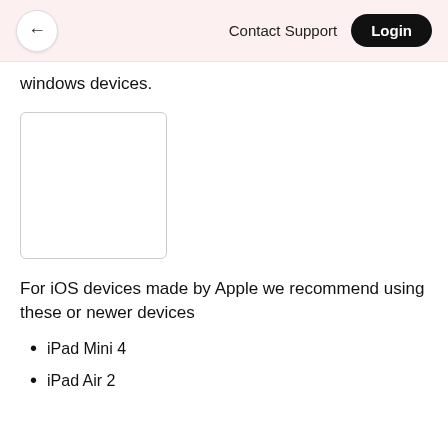Contact Support  Login
windows devices.
[Figure (other): Empty white rectangle with gray border, placeholder image]
For iOS devices made by Apple we recommend using these or newer devices
iPad Mini 4
iPad Air 2